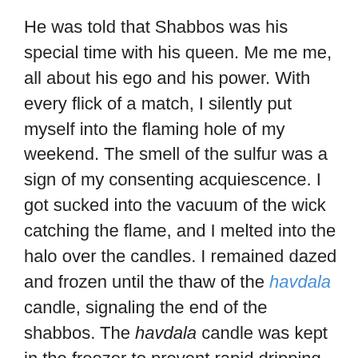He was told that Shabbos was his special time with his queen. Me me me, all about his ego and his power. With every flick of a match, I silently put myself into the flaming hole of my weekend. The smell of the sulfur was a sign of my consenting acquiescence. I got sucked into the vacuum of the wick catching the flame, and I melted into the halo over the candles. I remained dazed and frozen until the thaw of the havdala candle, signaling the end of the shabbos. The havdala candle was kept in the freezer to prevent rapid dripping during the havdala ritual. How I love putting the smelling candle with a freshly burnt wick into the inviting freezer. I imagine crawling into it together with the candle, having a dark cold, silent and insulated cocoon to defrost my rage. I preferred to die from lack of oxygen, than use my oxygen to kindle him. I needed a way out, longed to bring back. The wax, candle and of...